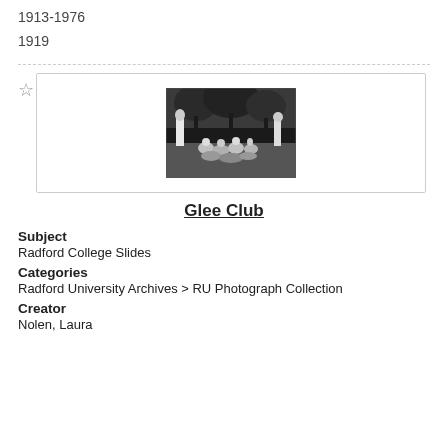1913-1976
1919
[Figure (photo): Black and white photograph of a group of people, likely the Glee Club, gathered outdoors under trees.]
Glee Club
Subject
Radford College Slides
Categories
Radford University Archives > RU Photograph Collection
Creator
Nolen, Laura